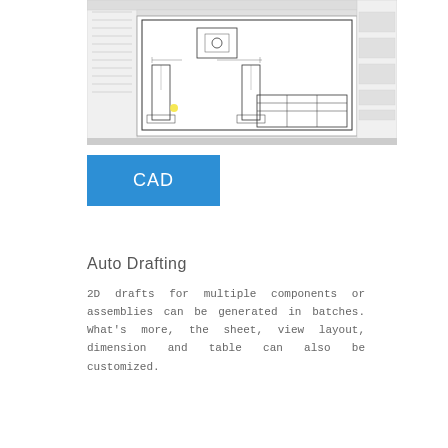[Figure (screenshot): CAD software screenshot showing a 2D engineering drawing with mechanical components (appears to be pillars/shafts) in a drafting workspace with panels and toolbars on left and right sides.]
CAD
Auto Drafting
2D drafts for multiple components or assemblies can be generated in batches. What's more, the sheet, view layout, dimension and table can also be customized.